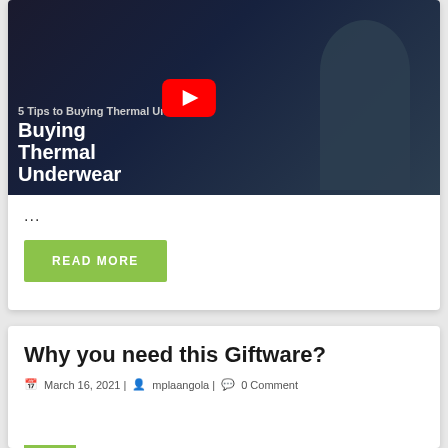[Figure (screenshot): YouTube video thumbnail showing '5 Tips to Buying Thermal Underwear' with a man wearing thermal underwear and a YouTube play button overlay]
...
READ MORE
Why you need this Giftware?
March 16, 2021 | mplaangola | 0 Comment